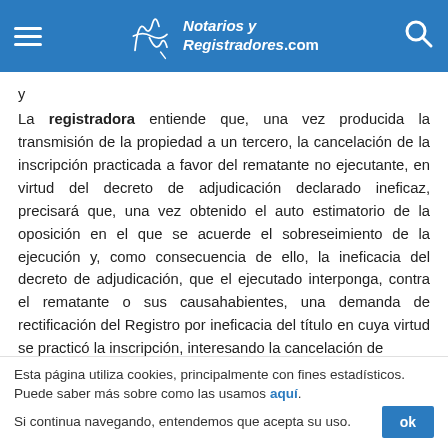Notarios y Registradores.com
y
La registradora entiende que, una vez producida la transmisión de la propiedad a un tercero, la cancelación de la inscripción practicada a favor del rematante no ejecutante, en virtud del decreto de adjudicación declarado ineficaz, precisará que, una vez obtenido el auto estimatorio de la oposición en el que se acuerde el sobreseimiento de la ejecución y, como consecuencia de ello, la ineficacia del decreto de adjudicación, que el ejecutado interponga, contra el rematante o sus causahabientes, una demanda de rectificación del Registro por ineficacia del título en cuya virtud se practicó la inscripción, interesando la cancelación de
Esta página utiliza cookies, principalmente con fines estadísticos. Puede saber más sobre como las usamos aquí. Si continua navegando, entendemos que acepta su uso.